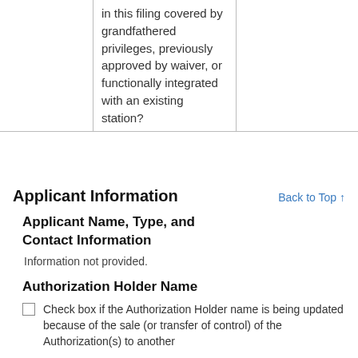|  |  |  |
| --- | --- | --- |
|  | in this filing covered by grandfathered privileges, previously approved by waiver, or functionally integrated with an existing station? |  |
Applicant Information
Back to Top ↑
Applicant Name, Type, and Contact Information
Information not provided.
Authorization Holder Name
Check box if the Authorization Holder name is being updated because of the sale (or transfer of control) of the Authorization(s) to another